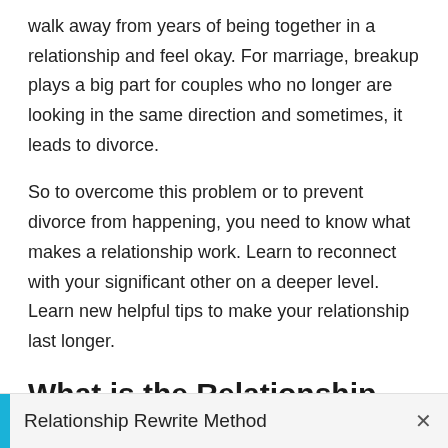walk away from years of being together in a relationship and feel okay. For marriage, breakup plays a big part for couples who no longer are looking in the same direction and sometimes, it leads to divorce.
So to overcome this problem or to prevent divorce from happening, you need to know what makes a relationship work. Learn to reconnect with your significant other on a deeper level. Learn new helpful tips to make your relationship last longer.
What is the Relationship Rewrite Method?
When you feel stuck in a broken relationship, you alwa
Relationship Rewrite Method